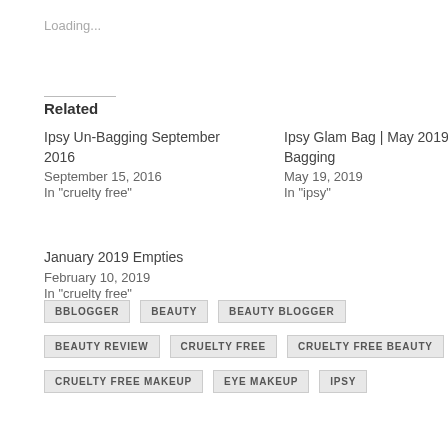Loading...
Related
Ipsy Un-Bagging September 2016
September 15, 2016
In "cruelty free"
Ipsy Glam Bag | May 2019 Un-Bagging
May 19, 2019
In "ipsy"
January 2019 Empties
February 10, 2019
In "cruelty free"
BBLOGGER
BEAUTY
BEAUTY BLOGGER
BEAUTY REVIEW
CRUELTY FREE
CRUELTY FREE BEAUTY
CRUELTY FREE MAKEUP
EYE MAKEUP
IPSY